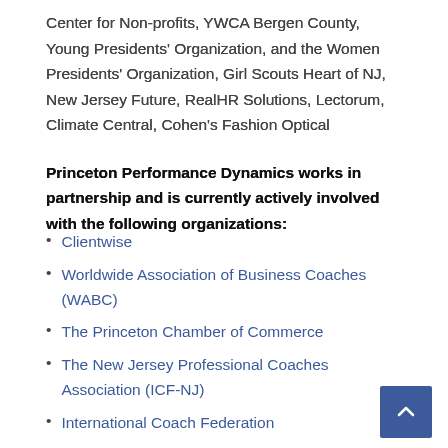Center for Non-profits, YWCA Bergen County, Young Presidents' Organization, and the Women Presidents' Organization, Girl Scouts Heart of NJ, New Jersey Future, RealHR Solutions, Lectorum, Climate Central, Cohen's Fashion Optical
Princeton Performance Dynamics works in partnership and is currently actively involved with the following organizations:
Clientwise
Worldwide Association of Business Coaches (WABC)
The Princeton Chamber of Commerce
The New Jersey Professional Coaches Association (ICF-NJ)
International Coach Federation